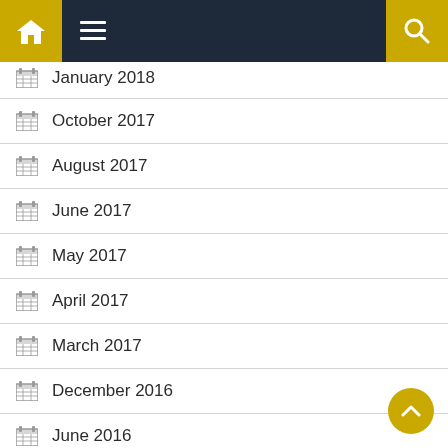Navigation bar with home, menu, and search icons
January 2018
October 2017
August 2017
June 2017
May 2017
April 2017
March 2017
December 2016
June 2016
May 2016